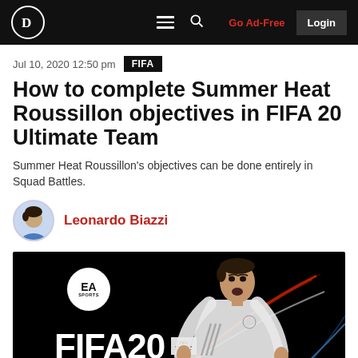Dot Esports navigation bar with logo, menu, search, Go Ad-Free, Login
Jul 10, 2020 12:50 pm  FIFA
How to complete Summer Heat Roussillon objectives in FIFA 20 Ultimate Team
Summer Heat Roussillon's objectives can be done entirely in Squad Battles.
Leonardo Biazzi
[Figure (photo): FIFA 20 game cover art on black background, showing player in white Real Madrid kit, EA SPORTS logo circle, FIFA20 text with badge]